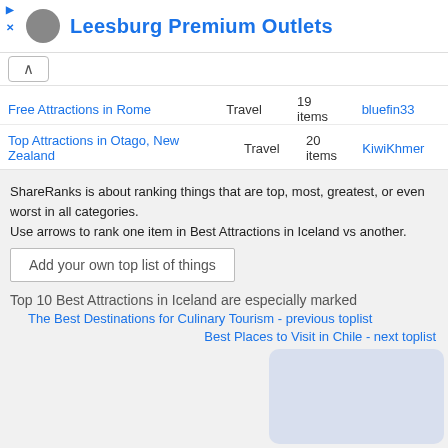Leesburg Premium Outlets
Free Attractions in Rome | Travel | 19 items | bluefin33
Top Attractions in Otago, New Zealand | Travel | 20 items | KiwiKhmer
ShareRanks is about ranking things that are top, most, greatest, or even worst in all categories.
Use arrows to rank one item in Best Attractions in Iceland vs another.
Add your own top list of things
Top 10 Best Attractions in Iceland are especially marked
The Best Destinations for Culinary Tourism - previous toplist
Best Places to Visit in Chile - next toplist
[Figure (other): Light blue/grey rounded rectangle placeholder box]